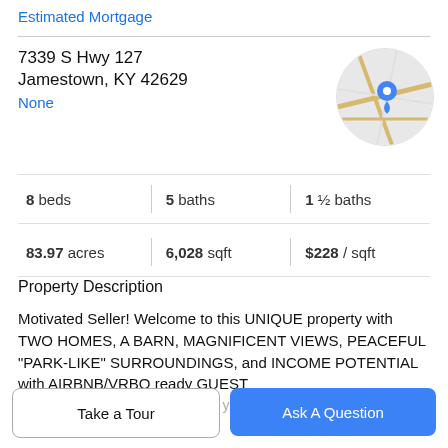Estimated Mortgage
7339 S Hwy 127
Jamestown, KY 42629
None
[Figure (map): Circular map thumbnail showing a location pin marker over a road map of Jamestown, KY area]
8 beds | 5 baths | 1 ½ baths
83.97 acres | 6,028 sqft | $228 / sqft
Property Description
Motivated Seller! Welcome to this UNIQUE property with TWO HOMES, A BARN, MAGNIFICENT VIEWS, PEACEFUL "PARK-LIKE" SURROUNDINGS, and INCOME POTENTIAL with AIRBNB/VRBO ready GUEST HOUSE! The great outdoors like you have never seen.
Take a Tour
Ask A Question